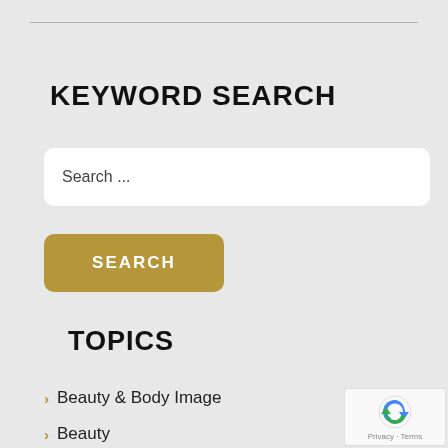KEYWORD SEARCH
Search ...
SEARCH
TOPICS
Beauty & Body Image
Beauty